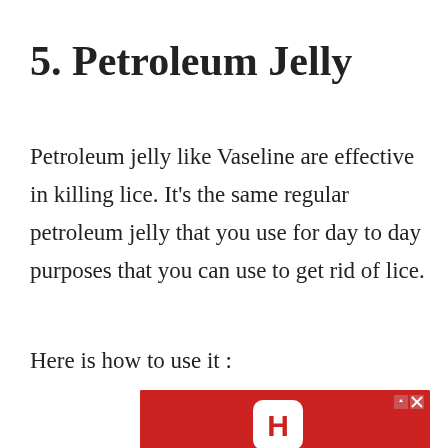5. Petroleum Jelly
Petroleum jelly like Vaseline are effective in killing lice. It’s the same regular petroleum jelly that you use for day to day purposes that you can use to get rid of lice.
Here is how to use it :
[Figure (other): Hotels.com advertisement banner with red background, Hotels.com logo, and BOOK NOW button]